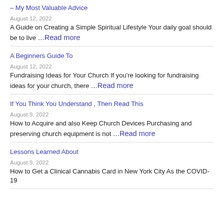– My Most Valuable Advice
August 12, 2022
A Guide on Creating a Simple Spiritual Lifestyle Your daily goal should be to live … Read more
A Beginners Guide To
August 12, 2022
Fundraising Ideas for Your Church If you're looking for fundraising ideas for your church, there … Read more
If You Think You Understand , Then Read This
August 9, 2022
How to Acquire and also Keep Church Devices Purchasing and preserving church equipment is not … Read more
Lessons Learned About
August 9, 2022
How to Get a Clinical Cannabis Card in New York City As the COVID-19 … Read more